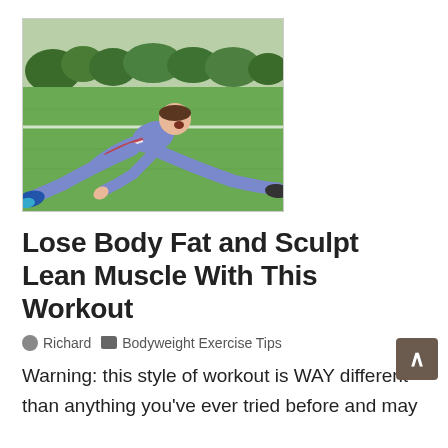[Figure (photo): Person in blue tracksuit with white headband stretching on a grass sports field, reaching toward their foot in a side split position]
Lose Body Fat and Sculpt Lean Muscle With This Workout
Richard   Bodyweight Exercise Tips
Warning: this style of workout is WAY different than anything you've ever tried before and may